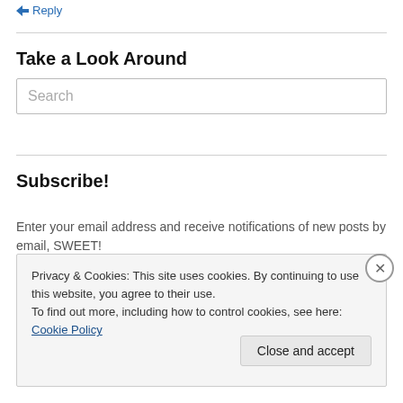Reply
Take a Look Around
Search
Subscribe!
Enter your email address and receive notifications of new posts by email, SWEET!
Privacy & Cookies: This site uses cookies. By continuing to use this website, you agree to their use.
To find out more, including how to control cookies, see here: Cookie Policy
Close and accept